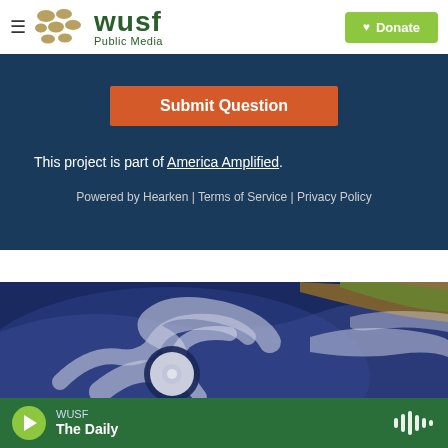[Figure (logo): WUSF Public Media logo with golden dots and green text]
Submit Question
This project is part of America Amplified.
Powered by Hearken | Terms of Service | Privacy Policy
[Figure (photo): Aerial satellite view of a hurricane over the Gulf of Mexico near Florida coastline]
WUSF The Daily